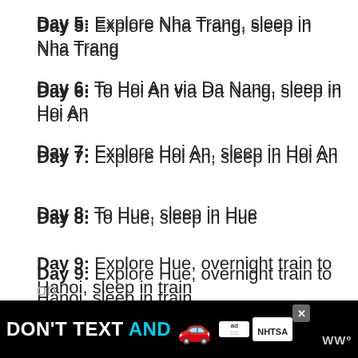Day 5: Explore Nha Trang, sleep in Nha Trang
Day 6: To Hoi An via Da Nang, sleep in Hoi An
Day 7: Explore Hoi An, sleep in Hoi An
Day 8: To Hue, sleep in Hue
Day 9: Explore Hue, overnight train to Hanoi, sleep in train
Day 10: Explore Hanoi, sleep in Hanoi
Day 11: To Halong Bay, take Halong Bay Cruise, sleep on cruise
[Figure (other): Advertisement banner: DON'T TEXT AND [car emoji] with ad badge and NHTSA logo]